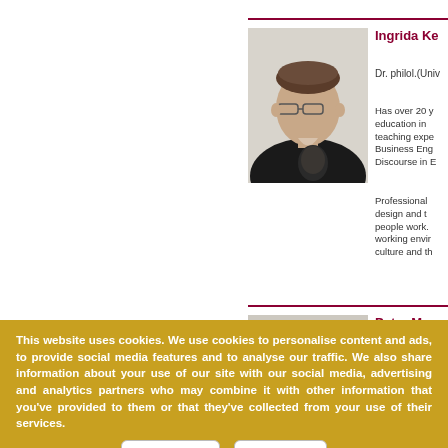[Figure (photo): Portrait photo of a woman with short brown hair and glasses, wearing a black jacket, against a light background]
Ingrida Ke
Dr. philol.(Univ
Has over 20 y education in teaching expe Business Eng Discourse in E
Professional design and t people work. working envir culture and th
[Figure (photo): Partial portrait photo of a person, mostly obscured by cookie consent banner]
Peter Mens
This website uses cookies. We use cookies to personalise content and ads, to provide social media features and to analyse our traffic. We also share information about your use of our site with our social media, advertising and analytics partners who may combine it with other information that you've provided to them or that they've collected from your use of their services.
OK, I Agree
No, Reject